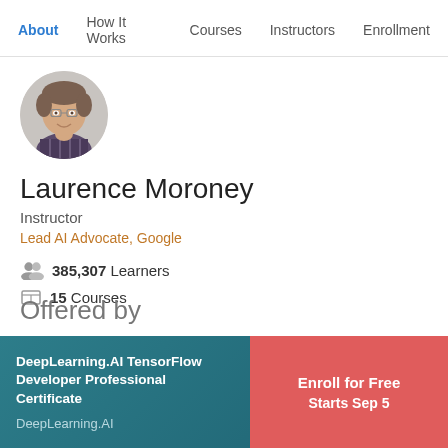About  How It Works  Courses  Instructors  Enrollment
[Figure (photo): Circular profile photo of Laurence Moroney, smiling, wearing a plaid shirt]
Laurence Moroney
Instructor
Lead AI Advocate, Google
385,307 Learners
15 Courses
Offered by
DeepLearning.AI TensorFlow Developer Professional Certificate
DeepLearning.AI
Enroll for Free
Starts Sep 5